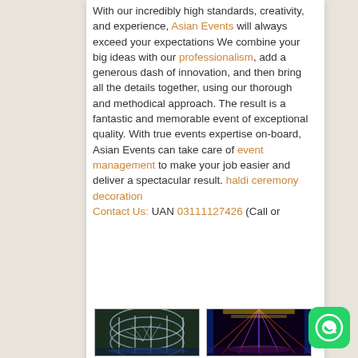With our incredibly high standards, creativity, and experience, Asian Events will always exceed your expectations We combine your big ideas with our professionalism, add a generous dash of innovation, and then bring all the details together, using our thorough and methodical approach. The result is a fantastic and memorable event of exceptional quality. With true events expertise on-board, Asian Events can take care of event management to make your job easier and deliver a spectacular result. haldi ceremony decoration Contact Us: UAN 03111127426 (Call or
[Figure (photo): Illuminated circular building structure with light projections resembling tree branches at night]
[Figure (photo): Decorative event hall interior with purple and blue lighting, golden ceiling decorations, and stage setup]